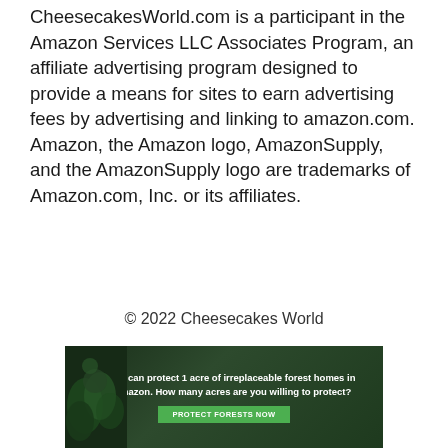CheesecakesWorld.com is a participant in the Amazon Services LLC Associates Program, an affiliate advertising program designed to provide a means for sites to earn advertising fees by advertising and linking to amazon.com. Amazon, the Amazon logo, AmazonSupply, and the AmazonSupply logo are trademarks of Amazon.com, Inc. or its affiliates.
© 2022 Cheesecakes World
[Figure (infographic): Green forest-themed advertisement banner reading: 'Just $2 can protect 1 acre of irreplaceable forest homes in the Amazon. How many acres are you willing to protect?' with a green 'PROTECT FORESTS NOW' button and forest/leaf imagery on the left.]